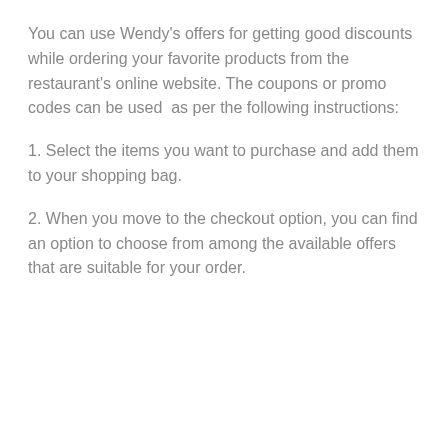You can use Wendy's offers for getting good discounts while ordering your favorite products from the restaurant's online website. The coupons or promo codes can be used  as per the following instructions:
1. Select the items you want to purchase and add them to your shopping bag.
2. When you move to the checkout option, you can find an option to choose from among the available offers that are suitable for your order.